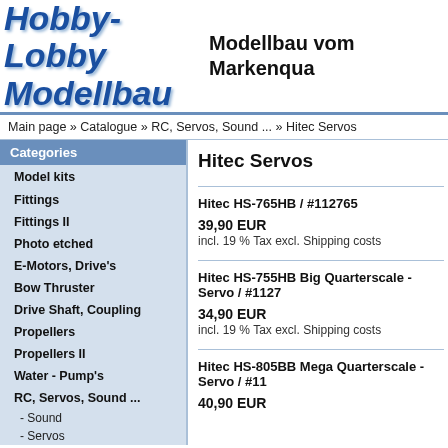Hobby-Lobby Modellbau | Modellbau vom Feinsten - Markenqualität
Main page » Catalogue » RC, Servos, Sound ... » Hitec Servos
Categories
Model kits
Fittings
Fittings II
Photo etched
E-Motors, Drive's
Bow Thruster
Drive Shaft, Coupling
Propellers
Propellers II
Water - Pump's
RC, Servos, Sound ...
- Sound
- Servos
- Servo Arms . . . - NEW -
- Usefull electronics
Hitec Servos
Hitec HS-765HB / #112765
39,90 EUR
incl. 19 % Tax excl. Shipping costs
Hitec HS-755HB Big Quarterscale - Servo / #11270
34,90 EUR
incl. 19 % Tax excl. Shipping costs
Hitec HS-805BB Mega Quarterscale - Servo / #11...
40,90 EUR